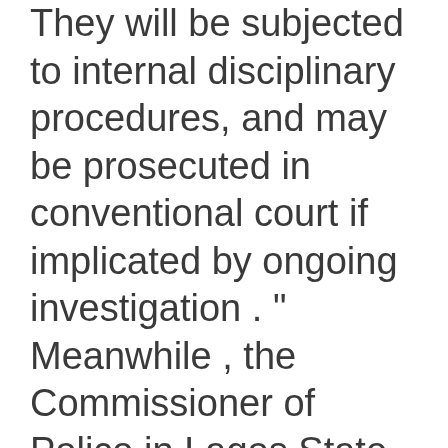They will be subjected to internal disciplinary procedures, and may be prosecuted in conventional court if implicated by ongoing investigation . " Meanwhile , the Commissioner of Police in Lagos State , CP Zubairu Muazu, calls for calm , assuring that justice will prevail in this case . " The CP also condoles